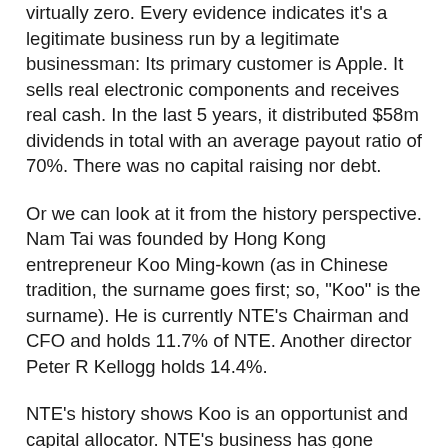virtually zero. Every evidence indicates it's a legitimate business run by a legitimate businessman: Its primary customer is Apple. It sells real electronic components and receives real cash. In the last 5 years, it distributed $58m dividends in total with an average payout ratio of 70%. There was no capital raising nor debt.
Or we can look at it from the history perspective. Nam Tai was founded by Hong Kong entrepreneur Koo Ming-kown (as in Chinese tradition, the surname goes first; so, "Koo" is the surname). He is currently NTE's Chairman and CFO and holds 11.7% of NTE. Another director Peter R Kellogg holds 14.4%.
NTE's history shows Koo is an opportunist and capital allocator. NTE's business has gone through 3 major transformations in the last 4 decades. NTE started as a distributor of Japan-made calculators. At its peak, about half of the calculators used in Hong Kong were imported by NTE. In 1979, taking advantage of China's economic reform, Koo expanded the business into China and started manufacturing his own brand of calculators in China. Later, around 1985,